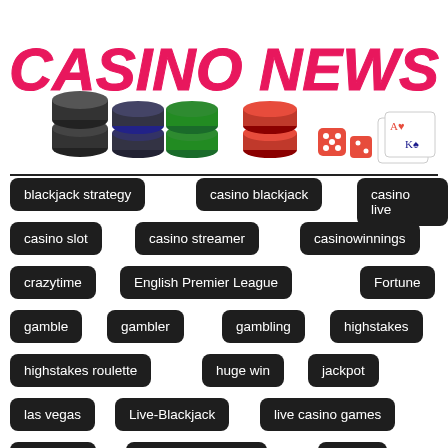[Figure (logo): Casino News logo with colorful casino chips, playing cards and dice on white background. Pink/red bold italic text reads CASINO NEWS.]
blackjack strategy
casino blackjack
casino live
casino slot
casino streamer
casinowinnings
crazytime
English Premier League
Fortune
gamble
gambler
gambling
highstakes
highstakes roulette
huge win
jackpot
las vegas
Live-Blackjack
live casino games
livedealer
Manchester United
money